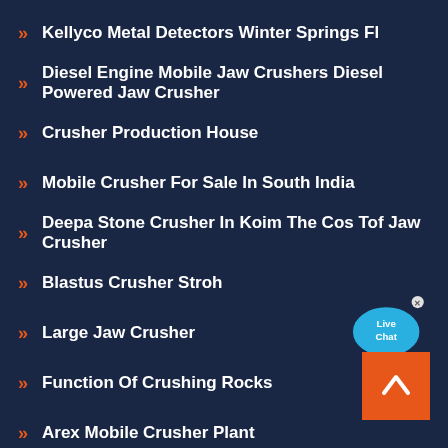Kellyco Metal Detectors Winter Springs Fl
Diesel Engine Mobile Jaw Crushers Diesel Powered Jaw Crusher
Crusher Production House
Mobile Crusher For Sale In South India
Deepa Stone Crusher In Koim The Cos Tof Jaw Crusher
Blastus Crusher Stroh
Large Jaw Crusher
Function Of Crushing Rocks
Arex Mobile Crusher Plant
Small China Jaw Crusher In Ghana